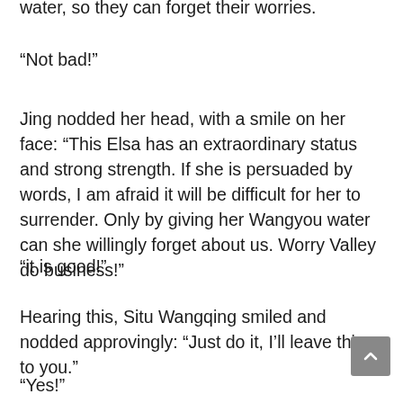water, so they can forget their worries.
“Not bad!”
Jing nodded her head, with a smile on her face: “This Elsa has an extraordinary status and strong strength. If she is persuaded by words, I am afraid it will be difficult for her to surrender. Only by giving her Wangyou water can she willingly forget about us. Worry Valley do business!”
“it is good!”
Hearing this, Situ Wangqing smiled and nodded approvingly: “Just do it, I’ll leave this to you.”
“Yes!”